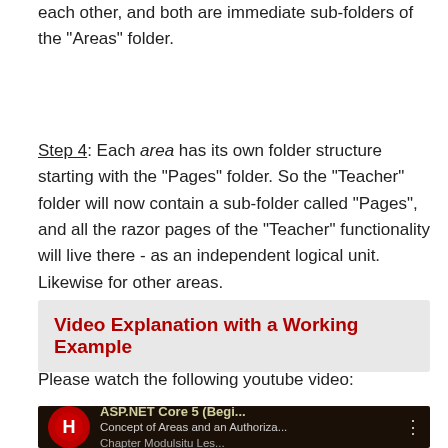each other, and both are immediate sub-folders of the "Areas" folder.
Step 4: Each area has its own folder structure starting with the "Pages" folder. So the "Teacher" folder will now contain a sub-folder called "Pages", and all the razor pages of the "Teacher" functionality will live there - as an independent logical unit. Likewise for other areas.
Video Explanation with a Working Example
Please watch the following youtube video:
[Figure (screenshot): YouTube video thumbnail showing ASP.NET Core 5 (Beginner) - Concept of Areas and an Authorization... with a person visible on the right and a red H logo on the left.]